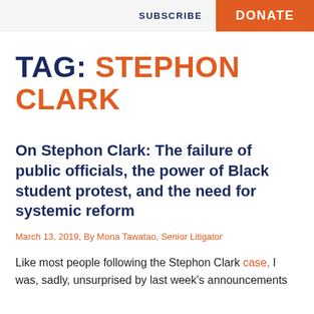SUBSCRIBE   DONATE
TAG: STEPHON CLARK
On Stephon Clark: The failure of public officials, the power of Black student protest, and the need for systemic reform
March 13, 2019, By Mona Tawatao, Senior Litigator
Like most people following the Stephon Clark case, I was, sadly, unsurprised by last week's announcements